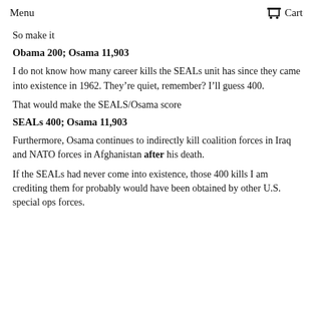Menu   Cart
So make it
Obama 200; Osama 11,903
I do not know how many career kills the SEALs unit has since they came into existence in 1962. They’re quiet, remember? I’ll guess 400.
That would make the SEALS/Osama score
SEALs 400; Osama 11,903
Furthermore, Osama continues to indirectly kill coalition forces in Iraq and NATO forces in Afghanistan after his death.
If the SEALs had never come into existence, those 400 kills I am crediting them for probably would have been obtained by other U.S. special ops forces.